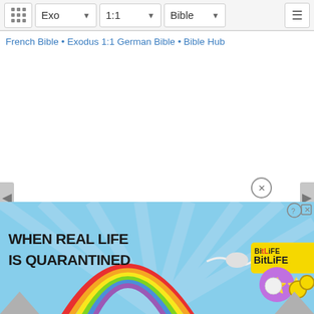Exo  1:1  Bible
French Bible • Exodus 1:1 German Bible • Bible Hub
[Figure (screenshot): BitLife advertisement banner: 'WHEN REAL LIFE IS QUARANTINED' with rainbow and emoji graphics on light blue background]